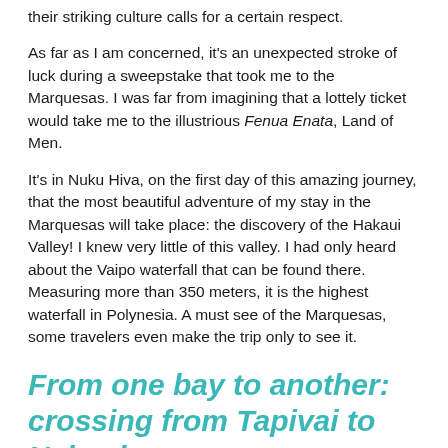their striking culture calls for a certain respect.
As far as I am concerned, it's an unexpected stroke of luck during a sweepstake that took me to the Marquesas. I was far from imagining that a lottely ticket would take me to the illustrious Fenua Enata, Land of Men.
It's in Nuku Hiva, on the first day of this amazing journey, that the most beautiful adventure of my stay in the Marquesas will take place: the discovery of the Hakaui Valley! I knew very little of this valley. I had only heard about the Vaipo waterfall that can be found there. Measuring more than 350 meters, it is the highest waterfall in Polynesia. A must see of the Marquesas, some travelers even make the trip only to see it.
From one bay to another: crossing from Tapivai to Hakaui
It is on a boat, in a bay south of Nuku Hiva, that we begin our expedition. Our guides of the day, Maria and her husband Mai, share with our group many anecdotes while we travel along the coast between Tapivai and Hakaui. They tell us about the life on their island, the